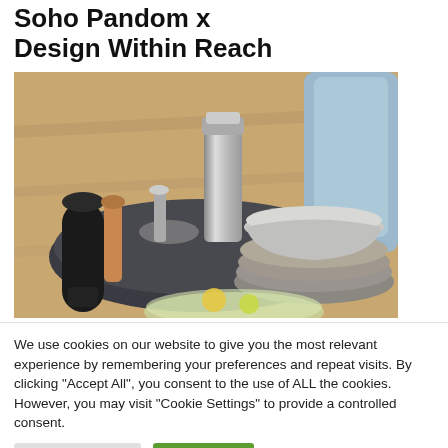Soho Pandom x Design Within Reach
[Figure (photo): Product photo showing kitchen/dining items on a wooden table: silver cocktail shaker and bar tools on a dark round tray, stacked gray/taupe ceramic plates and bowl, a black pepper grinder, a glass bowl with fruits and herbs, and a blue cylindrical vase in the background.]
We use cookies on our website to give you the most relevant experience by remembering your preferences and repeat visits. By clicking "Accept All", you consent to the use of ALL the cookies. However, you may visit "Cookie Settings" to provide a controlled consent.
Cookie Settings | Accept All